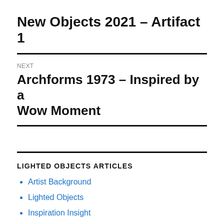New Objects 2021 – Artifact 1
NEXT
Archforms 1973 – Inspired by a Wow Moment
LIGHTED OBJECTS ARTICLES
Artist Background
Lighted Objects
Inspiration Insight